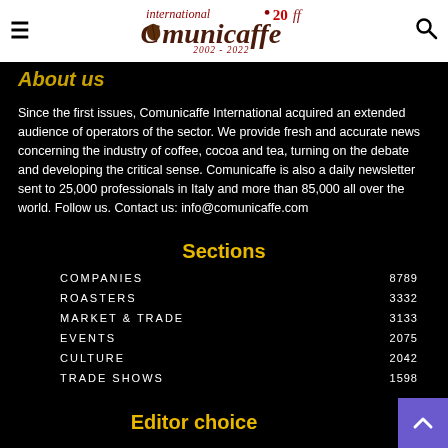International Comunicaffe 20 2002-2022
About us
Since the first issues, Comunicaffe International acquired an extended audience of operators of the sector. We provide fresh and accurate news concerning the industry of coffee, cocoa and tea, turning on the debate and developing the critical sense. Comunicaffe is also a daily newsletter sent to 25,000 professionals in Italy and more than 85,000 all over the world. Follow us. Contact us: info@comunicaffe.com
Sections
COMPANIES 8789
ROASTERS 3332
MARKET & TRADE 3133
EVENTS 2075
CULTURE 2042
TRADE SHOWS 1598
Editor choice